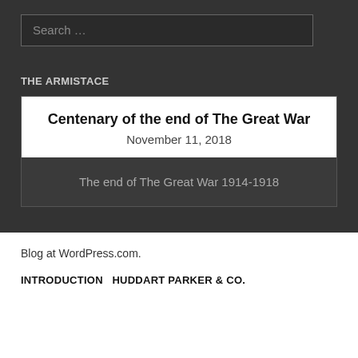Search ...
THE ARMISTACE
Centenary of the end of The Great War
November 11, 2018
The end of The Great War 1914-1918
Blog at WordPress.com.
INTRODUCTION   HUDDART PARKER & CO.